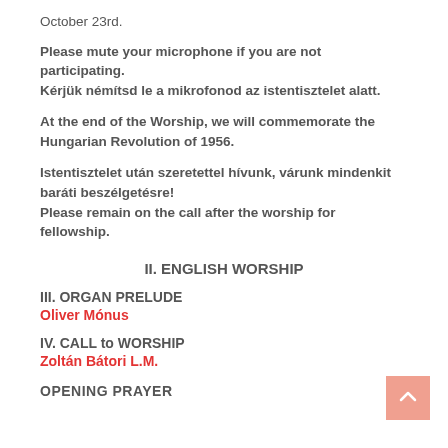October 23rd.
Please mute your microphone if you are not participating. Kérjük némítsd le a mikrofonod az istentisztelet alatt.
At the end of the Worship, we will commemorate the Hungarian Revolution of 1956.
Istentisztelet után szeretettel hívunk, várunk mindenkit baráti beszélgetésre! Please remain on the call after the worship for fellowship.
II. ENGLISH WORSHIP
III. ORGAN PRELUDE
Oliver Mónus
IV. CALL to WORSHIP
Zoltán Bátori L.M.
OPENING PRAYER